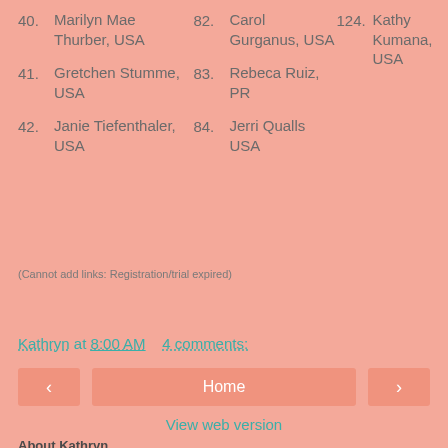40. Marilyn Mae Thurber, USA
82. Carol Gurganus, USA
124. Kathy Kumana, USA
41. Gretchen Stumme, USA
83. Rebeca Ruiz, PR
42. Janie Tiefenthaler, USA
84. Jerri Qualls USA
(Cannot add links: Registration/trial expired)
Kathryn at 8:00 AM    4 comments:
< Home > View web version
About Kathryn